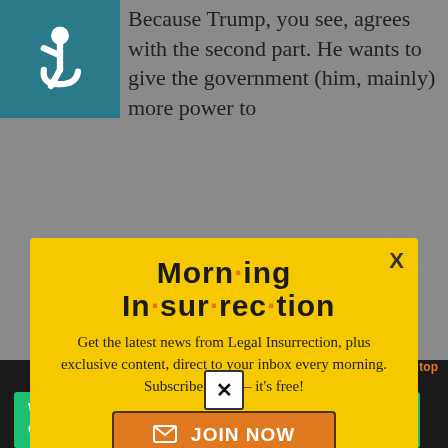[Figure (screenshot): Accessibility wheelchair icon in teal square]
Because Trump, you see, agrees with the second part. He wants to give the government (him, mainly) more power to
[Figure (screenshot): Morning Insurrection newsletter popup modal with yellow background, title 'Morn·ing In·sur·rec·tion', subscribe text, and JOIN NOW button]
Gary Britt | April 2016 at 4:24 pm
back to top
[Figure (screenshot): Fiverr advertisement banner: Working from home? Get your projects done on fiverr]